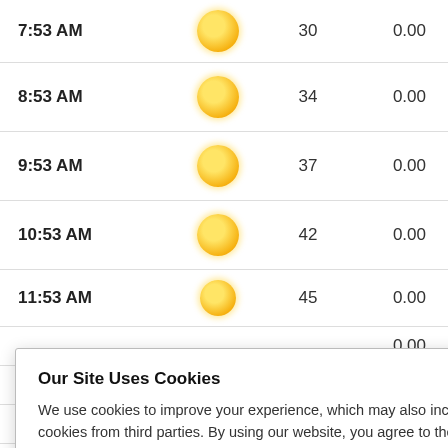| Time | Condition | Temp | Precip |
| --- | --- | --- | --- |
| 7:53 AM | sunny | 30 | 0.00 |
| 8:53 AM | sunny | 34 | 0.00 |
| 9:53 AM | sunny | 37 | 0.00 |
| 10:53 AM | sunny | 42 | 0.00 |
| 11:53 AM | sunny | 45 | 0.00 |
| (partial) | sunny |  | 0.00 |
| (partial) | sunny |  | 0.00 |
| (partial) | sunny |  | 0.00 |
| (partial) | sunny |  | 0.00 |
[Figure (screenshot): Cookie consent modal overlay. Title: 'Our Site Uses Cookies'. Body text: 'We use cookies to improve your experience, which may also include cookies from third parties. By using our website, you agree to the use of cookies. Learn more in our privacy policy.' Button: 'ACCEPT & CLOSE'.]